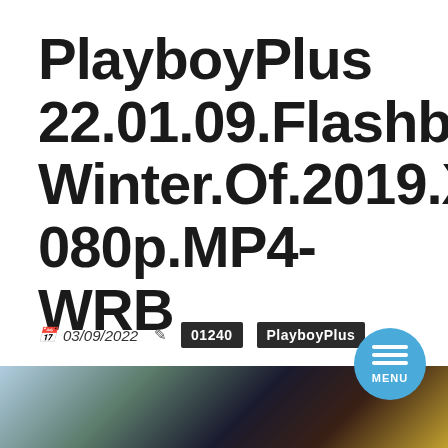PlayboyPlus 22.01.09.Flashback.Winter.Of.2019.XXX.1080p.MP4-WRB
📅 03/09/2022  ✏ 01240  PlayboyPlus
💬 No Comments
[Figure (photo): Partial view of a photo strip showing figures with floral/nature background, partially visible at bottom of page]